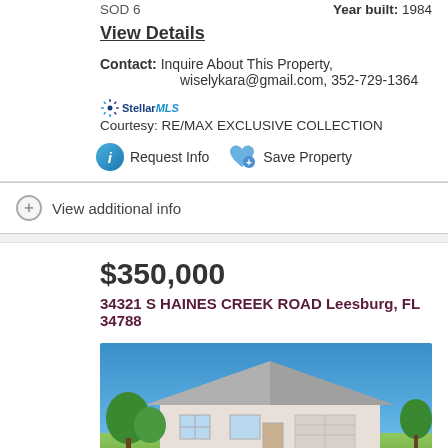Year built: 1984
View Details
Contact: Inquire About This Property, wiselykara@gmail.com, 352-729-1364
StellarMLS Courtesy: RE/MAX EXCLUSIVE COLLECTION
Request Info  Save Property
View additional info
$350,000
34321 S HAINES CREEK ROAD Leesburg, FL 34788
[Figure (photo): Exterior photo of a single-story house with a gray hip roof, green trees on left, blue sky background, Leesburg FL property at 34321 S Haines Creek Road]